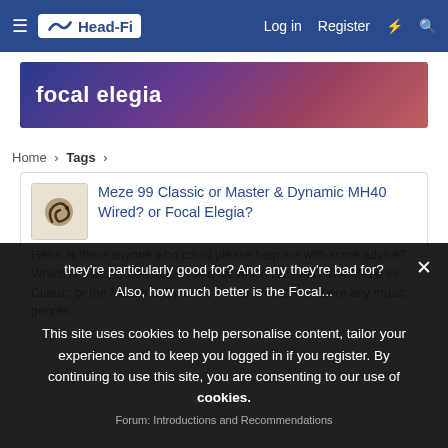Head-Fi — Log in  Register
[Figure (screenshot): Head-Fi forum search banner with tag 'focal elegia' — purple/pink gradient background with white bold text]
Home > Tags >
Meze 99 Classic or Master & Dynamic MH40 Wired? or Focal Elegia?
Hello, is there anyone who could please help me with some advice? Which is a better headphone and for which reasons? The Meze 99 Classic or the Master & Dynamic MH40 Wired? Are there any music genres they're particularly good for? And any they're bad for? Also, how much better is the Focal...
Forum: Introductions and Recommendations
This site uses cookies to help personalise content, tailor your experience and to keep you logged in if you register. By continuing to use this site, you are consenting to our use of cookies.